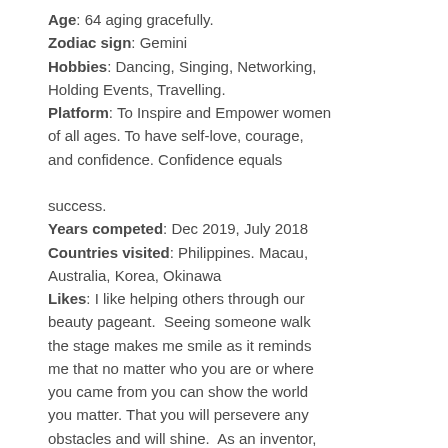Age: 64 aging gracefully.
Zodiac sign: Gemini
Hobbies: Dancing, Singing, Networking, Holding Events, Travelling.
Platform: To Inspire and Empower women of all ages. To have self-love, courage, and confidence. Confidence equals success.
Years competed: Dec 2019, July 2018
Countries visited: Philippines. Macau, Australia, Korea, Okinawa
Likes: I like helping others through our beauty pageant. Seeing someone walk the stage makes me smile as it reminds me that no matter who you are or where you came from you can show the world you matter. That you will persevere any obstacles and will shine. As an inventor, I encourage others to be creative so that